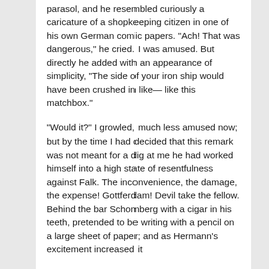parasol, and he resembled curiously a caricature of a shopkeeping citizen in one of his own German comic papers. "Ach! That was dangerous," he cried. I was amused. But directly he added with an appearance of simplicity, "The side of your iron ship would have been crushed in like— like this matchbox."
"Would it?" I growled, much less amused now; but by the time I had decided that this remark was not meant for a dig at me he had worked himself into a high state of resentfulness against Falk. The inconvenience, the damage, the expense! Gottferdam! Devil take the fellow. Behind the bar Schomberg with a cigar in his teeth, pretended to be writing with a pencil on a large sheet of paper; and as Hermann's excitement increased it